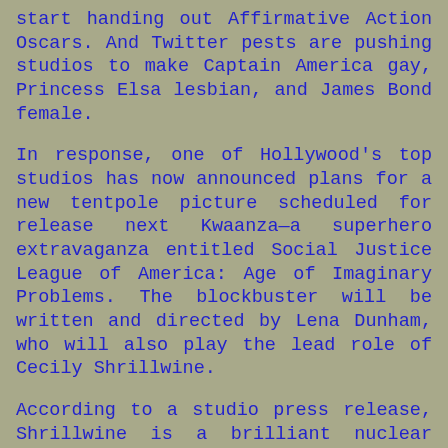start handing out Affirmative Action Oscars. And Twitter pests are pushing studios to make Captain America gay, Princess Elsa lesbian, and James Bond female.
In response, one of Hollywood's top studios has now announced plans for a new tentpole picture scheduled for release next Kwaanza—a superhero extravaganza entitled Social Justice League of America: Age of Imaginary Problems. The blockbuster will be written and directed by Lena Dunham, who will also play the lead role of Cecily Shrillwine.
According to a studio press release, Shrillwine is a brilliant nuclear physicist who angrily quits MIT after a sexist professor evicts her from class merely because she doesn't know any math. Shrillwine retires to her private laboratory hidden on the cliffs of Mount Grievance and there begins a series of secret experiments to determine exactly how little a person can contribute to